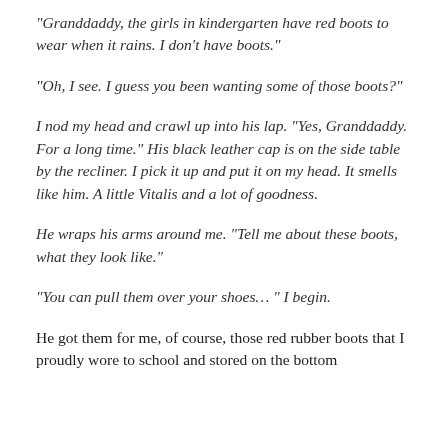“Granddaddy, the girls in kindergarten have red boots to wear when it rains. I don’t have boots.”
“Oh, I see. I guess you been wanting some of those boots?”
I nod my head and crawl up into his lap. “Yes, Granddaddy. For a long time.” His black leather cap is on the side table by the recliner. I pick it up and put it on my head. It smells like him. A little Vitalis and a lot of goodness.
He wraps his arms around me. “Tell me about these boots, what they look like.”
“You can pull them over your shoes… ” I begin.
He got them for me, of course, those red rubber boots that I proudly wore to school and stored on the bottom